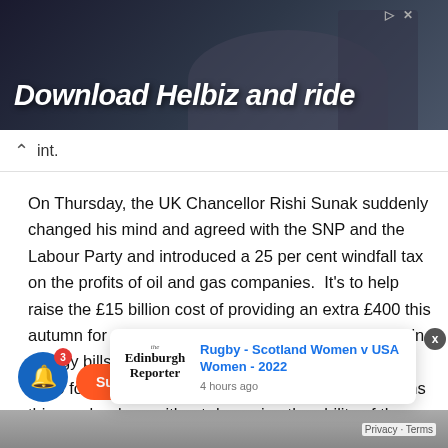[Figure (screenshot): Advertisement banner showing 'Download Helbiz and ride' text with dark background and camera/crew silhouette]
int.
On Thursday, the UK Chancellor Rishi Sunak suddenly changed his mind and agreed with the SNP and the Labour Party and introduced a 25 per cent windfall tax on the profits of oil and gas companies.  It's to help raise the £15 billion cost of providing an extra £400 this autumn for every household to cushion the increase in energy bills. There's also to be an extra payment of £250 for poorer households. The Chancellor maintains this can be done without damaging the ability of the energy companies to invest in renewables. So all's well that
[Figure (screenshot): Edinburgh Reporter notification popup showing 'Rugby - Scotland Women v USA Women - 2022' article link with '4 hours ago' timestamp]
[Figure (screenshot): Orange support/subscribe button and notification bell icon with badge showing '3']
Privacy · Terms